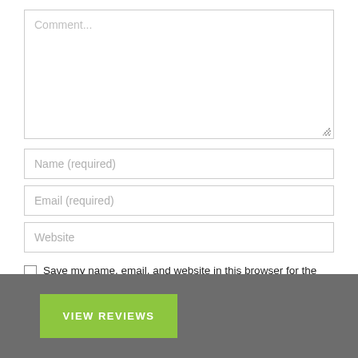[Figure (screenshot): Web comment form with textarea placeholder 'Comment...', input fields for Name (required), Email (required), Website, a checkbox to save info, a green POST COMMENT button partially visible, and a gray bar at the bottom with a green VIEW REVIEWS button.]
Comment...
Name (required)
Email (required)
Website
Save my name, email, and website in this browser for the next time I comment.
POST COMMENT
VIEW REVIEWS